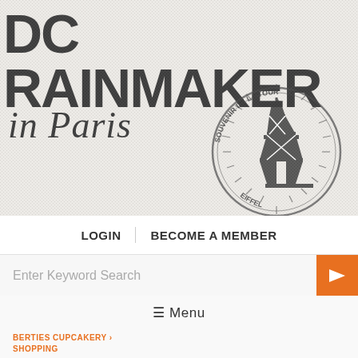[Figure (logo): DC Rainmaker in Paris blog header with large bold block letters 'DC RAINMAKER' and cursive 'in Paris' text, with a circular Eiffel Tower stamp reading 'SOUVENIR DE LA TOUR EIFFEL' on a textured grey background]
LOGIN   BECOME A MEMBER
Enter Keyword Search
≡ Menu
BERTIES CUPCAKERY
SHOPPING
Observations from our first indoor pool